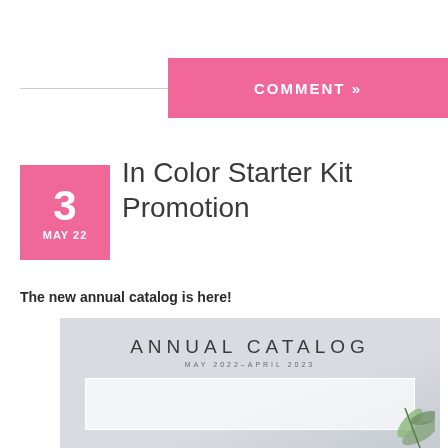COMMENT »
In Color Starter Kit Promotion
The new annual catalog is here!
[Figure (photo): Photo of the Annual Catalog May 2022–April 2023 cover on a light grey background with greenery decoration]